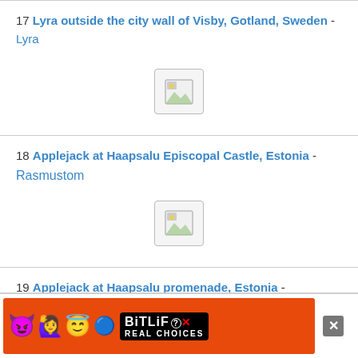17 Lyra outside the city wall of Visby, Gotland, Sweden - Lyra
[Figure (other): Broken image placeholder icon]
18 Applejack at Haapsalu Episcopal Castle, Estonia - Rasmustom
[Figure (other): Broken image placeholder icon]
19 Applejack at Haapsalu promenade, Estonia - Rasmustom
[Figure (other): BitLife advertisement banner]